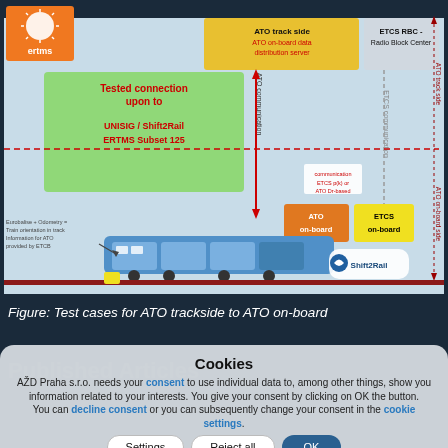[Figure (schematic): ERTMS/ATO system diagram showing ATO track side with ATO on-board data distribution server, ETCS RBC Radio Block Center, tested connection upon to UNISIG/Shift2Rail ERTMS Subset 125, ATO communication, ATO on-board, ETCS on-board, train with Eurobalise + Odometry, Shift2Rail logo, ERTMS logo.]
Figure: Test cases for ATO trackside to ATO on-board
Published Articles
AŽD Praha s.r.o. needs your consent to use individual data to, among other things, show you information related to your interests. You give your consent by clicking on OK the button. You can decline consent or you can subsequently change your consent in the cookie settings.